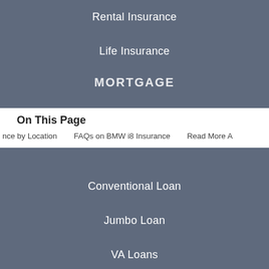Rental Insurance
Life Insurance
MORTGAGE
On This Page
nce by Location   FAQs on BMW i8 Insurance   Read More A...
Conventional Loan
Jumbo Loan
VA Loans
FHA Loans
CREDIT CARDS
Business Credit Cards
Student Credit Cards
Balance Transfer Card...